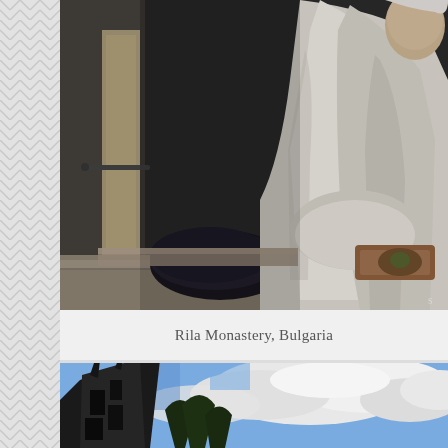[Figure (photo): A person dressed in white robes/garments sitting or crouching on stone steps near a window or doorway, with a dark bag on the ground. Interior of what appears to be a monastery.]
Rila Monastery, Bulgaria
[Figure (photo): Looking up at a dark building facade against a dramatic cloudy sky with blue patches.]